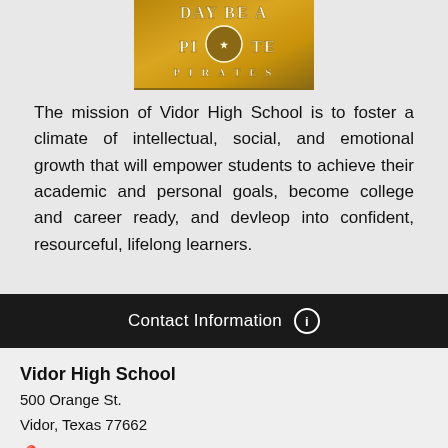[Figure (logo): Vidor High School Pirates logo/emblem with text 'DAY BE A PIRATE' on gold background]
The mission of Vidor High School is to foster a climate of intellectual, social, and emotional growth that will empower students to achieve their academic and personal goals, become college and career ready, and devleop into confident, resourceful, lifelong learners.
Contact Information
Vidor High School
500 Orange St.
Vidor, Texas 77662
Map
Phone: (409) 951-8900
Fax: (409) 769-6767